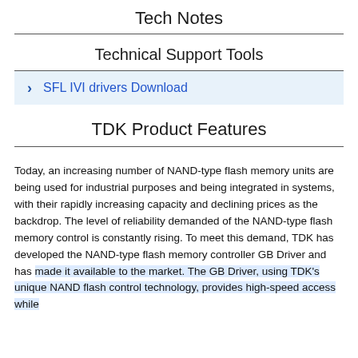Tech Notes
Technical Support Tools
SFL IVI drivers Download
TDK Product Features
Today, an increasing number of NAND-type flash memory units are being used for industrial purposes and being integrated in systems, with their rapidly increasing capacity and declining prices as the backdrop. The level of reliability demanded of the NAND-type flash memory control is constantly rising. To meet this demand, TDK has developed the NAND-type flash memory controller GB Driver and has made it available to the market. The GB Driver, using TDK's unique NAND flash control technology, provides high-speed access while